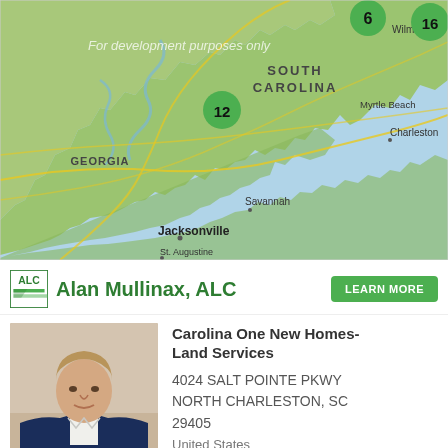[Figure (map): Google Maps screenshot showing southeastern US coastline with South Carolina, Georgia, Wilmington NC area. Green cluster markers show 6, 16, 12 listings near Wilmington, inland SC, and coastal areas. Cities labeled: SOUTH CAROLINA, Myrtle Beach, Charleston, Savannah, Jacksonville, St. Augustine. Watermark: For development purposes only.]
ALC logo | Alan Mullinax, ALC | LEARN MORE
[Figure (photo): Headshot of Alan Mullinax, middle-aged man with light brown hair wearing a navy blue jacket and white shirt, smiling slightly.]
Carolina One New Homes-Land Services
4024 SALT POINTE PKWY
NORTH CHARLESTON, SC
29405
United States